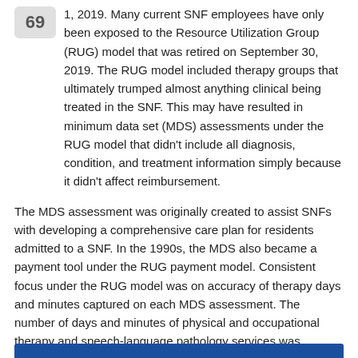1, 2019. Many current SNF employees have only been exposed to the Resource Utilization Group (RUG) model that was retired on September 30, 2019. The RUG model included therapy groups that ultimately trumped almost anything clinical being treated in the SNF. This may have resulted in minimum data set (MDS) assessments under the RUG model that didn't include all diagnosis, condition, and treatment information simply because it didn't affect reimbursement.
The MDS assessment was originally created to assist SNFs with developing a comprehensive care plan for residents admitted to a SNF. In the 1990s, the MDS also became a payment tool under the RUG payment model. Consistent focus under the RUG model was on accuracy of therapy days and minutes captured on each MDS assessment. The number of days and minutes of physical and occupational therapy and speech-language pathology services was ultimately the deciding factor regarding RUG group and daily payment amount.
[Figure (other): Blue bar at bottom of page, partial view of next section]